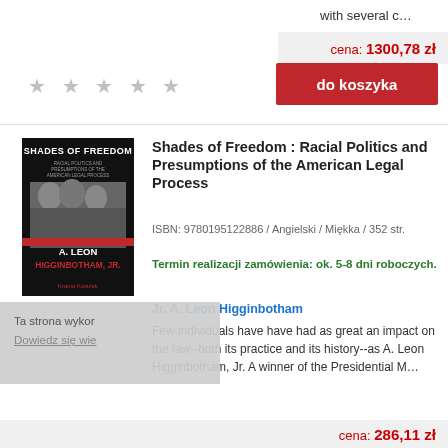with several c…
cena: 1300,78 zł
★ ★ ★ ★ ★
do koszyka
[Figure (illustration): Book cover of 'Shades of Freedom' by A. Leon Higginbotham Jr., black and white cover with red bar and photo of people]
Shades of Freedom : Racial Politics and Presumptions of the American Legal Process
ISBN: 9780195122886 / Angielski / Miękka / 352 str.
Termin realizacji zamówienia: ok. 5-8 dni roboczych.
Jr. A. Leon Higginbotham
Few individuals have had as great an impact on the law--both its practice and its history--as A. Leon Higginbotham, Jr. A winner of the Presidential M…
Ta strona wykor
Dowiedz się wie
cena: 286,11 zł